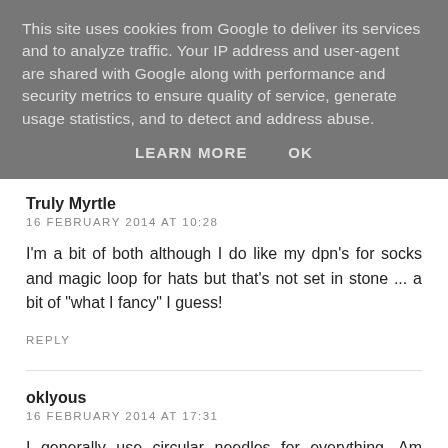This site uses cookies from Google to deliver its services and to analyze traffic. Your IP address and user-agent are shared with Google along with performance and security metrics to ensure quality of service, generate usage statistics, and to detect and address abuse.
LEARN MORE   OK
Truly Myrtle
16 FEBRUARY 2014 AT 10:28
I'm a bit of both although I do like my dpn's for socks and magic loop for hats but that's not set in stone ... a bit of "what I fancy" I guess!
REPLY
oklyous
16 FEBRUARY 2014 AT 17:31
I generally use circular needles for everything. Am knitting a shawl right now.